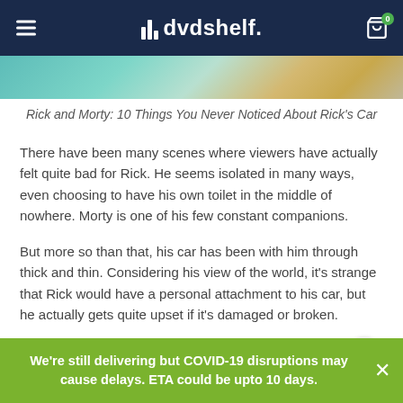dvdshelf.
[Figure (illustration): Colorful animated illustration, partial view, teal and yellow tones, Rick and Morty art style]
Rick and Morty: 10 Things You Never Noticed About Rick's Car
There have been many scenes where viewers have actually felt quite bad for Rick. He seems isolated in many ways, even choosing to have his own toilet in the middle of nowhere. Morty is one of his few constant companions.
But more so than that, his car has been with him through thick and thin. Considering his view of the world, it's strange that Rick would have a personal attachment to his car, but he actually gets quite upset if it's damaged or broken.
Junkyard Design
We're still delivering but COVID-19 disruptions may cause delays. ETA could be upto 10 days.